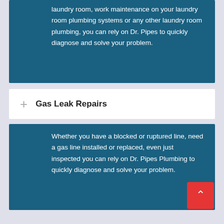laundry room, work maintenance on your laundry room plumbing systems or any other laundry room plumbing, you can rely on Dr. Pipes to quickly diagnose and solve your problem.
Gas Leak Repairs
Whether you have a blocked or ruptured line, need a gas line installed or replaced, even just inspected you can rely on Dr. Pipes Plumbing to quickly diagnose and solve your problem.